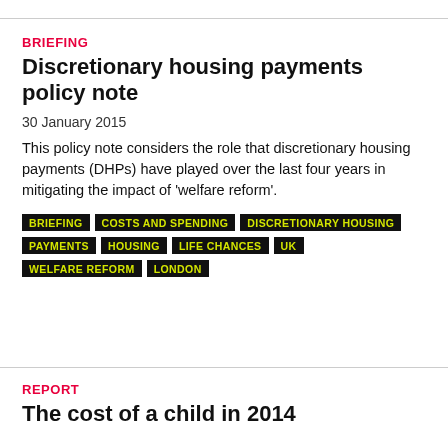BRIEFING
Discretionary housing payments policy note
30 January 2015
This policy note considers the role that discretionary housing payments (DHPs) have played over the last four years in mitigating the impact of ‘welfare reform’.
BRIEFING
COSTS AND SPENDING
DISCRETIONARY HOUSING PAYMENTS
HOUSING
LIFE CHANCES
UK
WELFARE REFORM
LONDON
REPORT
The cost of a child in 2014